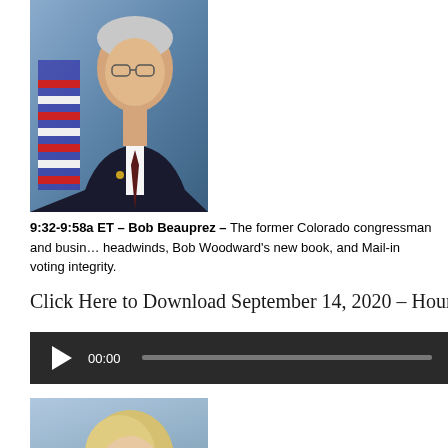[Figure (photo): Official portrait photo of Bob Beauprez, a man in a dark suit with glasses, American flag in background]
9:32-9:58a ET – Bob Beauprez – The former Colorado congressman and business owner discusses the economic headwinds, Bob Woodward's new book, and Mail-in voting integrity.
Click Here to Download September 14, 2020 – Hour Two
[Figure (other): Audio player widget with play button showing 00:00]
[Figure (photo): Partial portrait photo of a person with blonde hair, cropped at bottom of page]